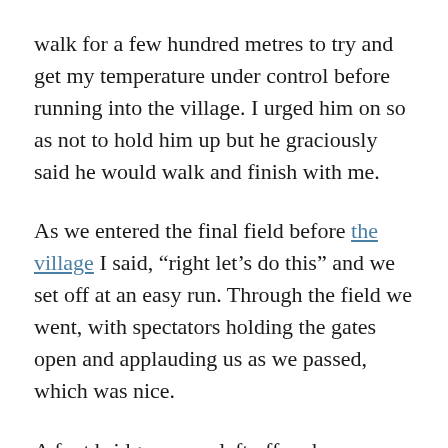walk for a few hundred metres to try and get my temperature under control before running into the village. I urged him on so as not to hold him up but he graciously said he would walk and finish with me.
As we entered the final field before the village I said, “right let’s do this” and we set off at an easy run. Through the field we went, with spectators holding the gates open and applauding us as we passed, which was nice.
A foot bridge on our left offered us a chance to cross the river, bringing us out immediately opposite the finish gantry. Race staff, spectators and other competitors cheered us in as Andy and I ran under the finish together in joint 13th place, stopping the clock at 11:15.